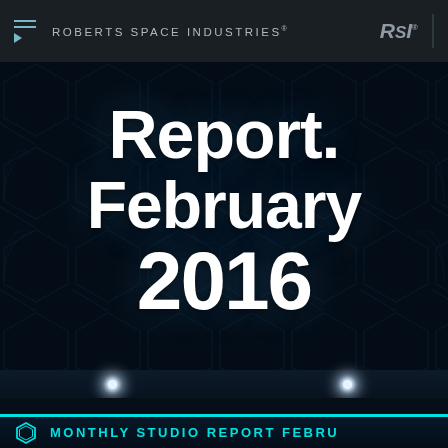ROBERTS SPACE INDUSTRIES®
Report. February 2016
MONTHLY STUDIO REPORT FEBRUARY